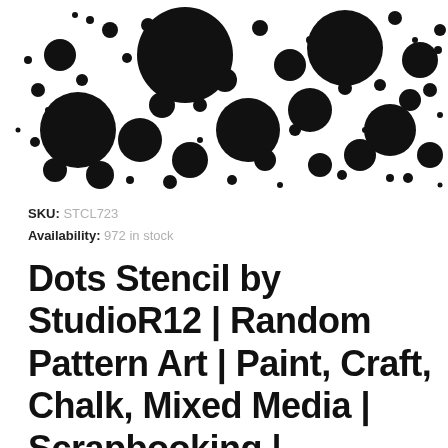[Figure (illustration): A stencil pattern showing randomly arranged black circles and dots of various sizes on a white background, resembling a polka dot / bubbles pattern.]
SKU: STCL723
Availability: 972 in stock
Dots Stencil by StudioR12 | Random Pattern Art | Paint, Craft, Chalk, Mixed Media | Scrapbooking | Cardmaking | Mini 4" x 4" Reusable Mylar |